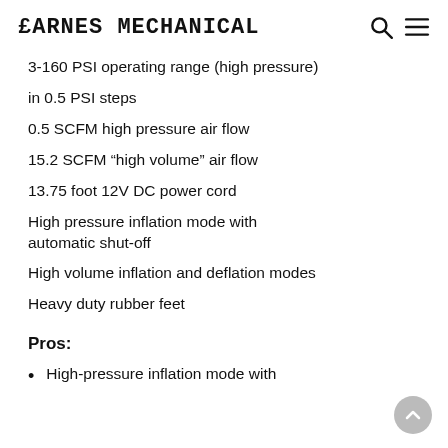CARNES MECHANICAL
3-160 PSI operating range (high pressure)
in 0.5 PSI steps
0.5 SCFM high pressure air flow
15.2 SCFM “high volume” air flow
13.75 foot 12V DC power cord
High pressure inflation mode with automatic shut-off
High volume inflation and deflation modes
Heavy duty rubber feet
Pros:
High-pressure inflation mode with automatic shut-off